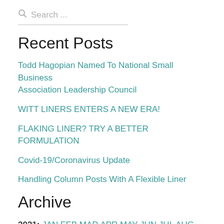Search ...
Recent Posts
Todd Hagopian Named To National Small Business Association Leadership Council
WITT LINERS ENTERS A NEW ERA!
FLAKING LINER? TRY A BETTER FORMULATION
Covid-19/Coronavirus Update
Handling Column Posts With A Flexible Liner
Archive
2021: JAN FEB MAR APR MAY JUN JUL AUG SEP OCT NOV DEC